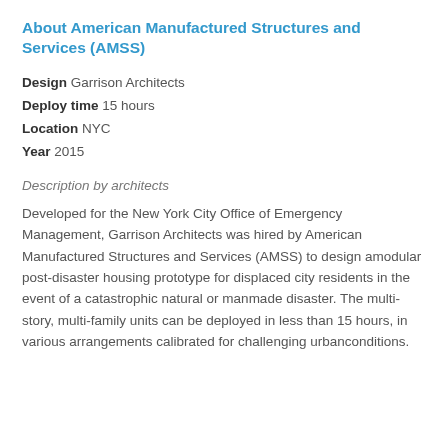About American Manufactured Structures and Services (AMSS)
Design Garrison Architects
Deploy time 15 hours
Location NYC
Year 2015
Description by architects
Developed for the New York City Office of Emergency Management, Garrison Architects was hired by American Manufactured Structures and Services (AMSS) to design amodular post-disaster housing prototype for displaced city residents in the event of a catastrophic natural or manmade disaster. The multi-story, multi-family units can be deployed in less than 15 hours, in various arrangements calibrated for challenging urbanconditions.